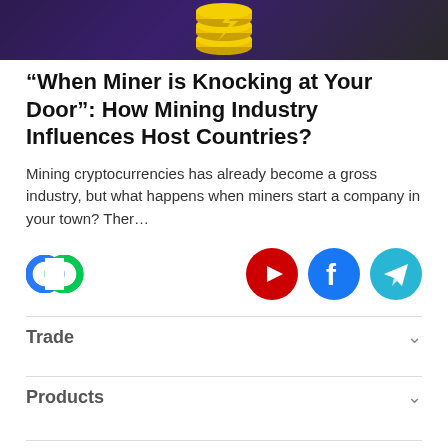[Figure (illustration): Dark purple/black banner with golden/yellow stacked coin icons in the center]
“When Miner is Knocking at Your Door”: How Mining Industry Influences Host Countries?
Mining cryptocurrencies has already become a gross industry, but what happens when miners start a company in your town? Ther…
[Figure (logo): CoinCodex logo (two interlocking C shapes in blue and green)]
[Figure (logo): Social media icons row: YouTube (red), Facebook (blue), Telegram (cyan)]
Trade
Products